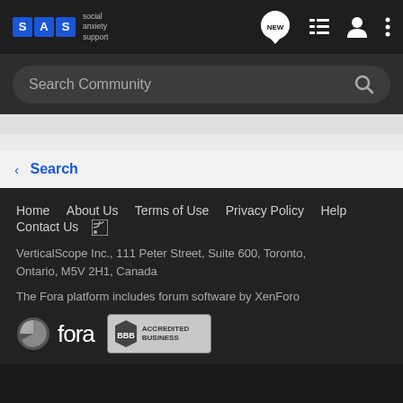[Figure (logo): SAS Social Anxiety Support logo with blue letter tiles]
[Figure (screenshot): Navigation bar icons: NEW chat bubble, list icon, user icon, more options icon]
Search Community
< Search
Home   About Us   Terms of Use   Privacy Policy   Help   Contact Us   [RSS]
VerticalScope Inc., 111 Peter Street, Suite 600, Toronto, Ontario, M5V 2H1, Canada
The Fora platform includes forum software by XenForo
[Figure (logo): Fora platform logo]
[Figure (logo): BBB Accredited Business badge]